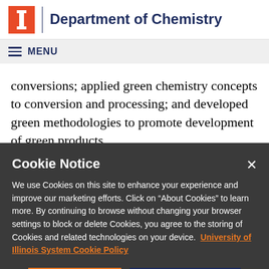Department of Chemistry
MENU
conversions; applied green chemistry concepts to conversion and processing; and developed green methodologies to promote development of green products.
Cookie Notice
We use Cookies on this site to enhance your experience and improve our marketing efforts. Click on “About Cookies” to learn more. By continuing to browse without changing your browser settings to block or delete Cookies, you agree to the storing of Cookies and related technologies on your device. University of Illinois System Cookie Policy
About Cookies
Close this Notice